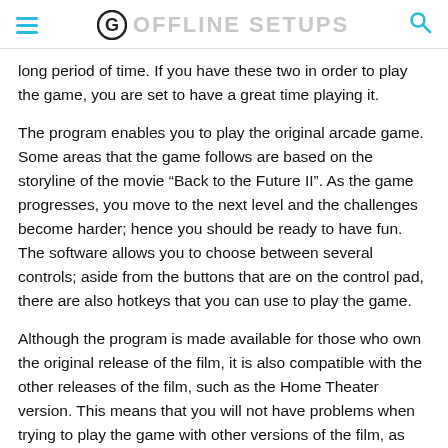OFFLINE SETUPS
long period of time. If you have these two in order to play the game, you are set to have a great time playing it.
The program enables you to play the original arcade game. Some areas that the game follows are based on the storyline of the movie “Back to the Future II”. As the game progresses, you move to the next level and the challenges become harder; hence you should be ready to have fun. The software allows you to choose between several controls; aside from the buttons that are on the control pad, there are also hotkeys that you can use to play the game.
Although the program is made available for those who own the original release of the film, it is also compatible with the other releases of the film, such as the Home Theater version. This means that you will not have problems when trying to play the game with other versions of the film, as the program is designed to be cross-compatible. You can use the program to play the arcade game or even the iPhone version of the film.
Arcadia 2021 Emulator is available at a price of fewer than forty bucks. If you are planning to purchase the software, make sure